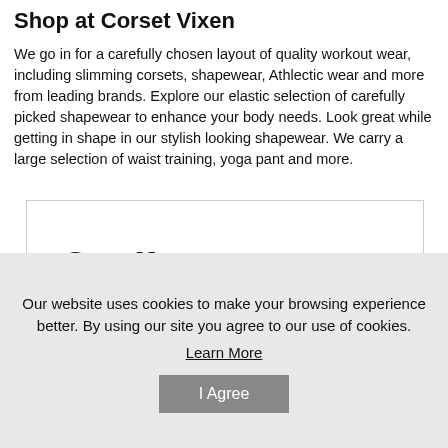Shop at Corset Vixen
We go in for a carefully chosen layout of quality workout wear, including slimming corsets, shapewear, Athlectic wear and more from leading brands. Explore our elastic selection of carefully picked shapewear to enhance your body needs. Look great while getting in shape in our stylish looking shapewear. We carry a large selection of waist training, yoga pant and more.
[Figure (photo): A pink and black waist training corset/shapewear product displayed against a white background with 'CorsetVixen.com' handwritten-style logo above it.]
Our website uses cookies to make your browsing experience better. By using our site you agree to our use of cookies.
Learn More
I Agree